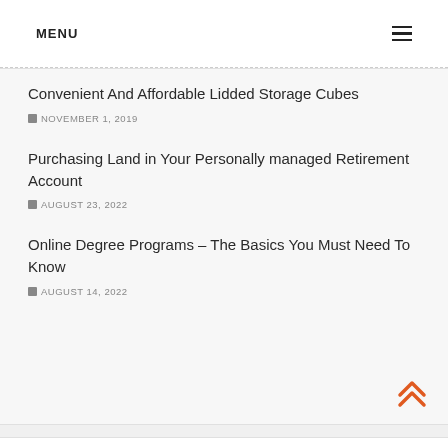MENU
Convenient And Affordable Lidded Storage Cubes
NOVEMBER 1, 2019
Purchasing Land in Your Personally managed Retirement Account
AUGUST 23, 2022
Online Degree Programs – The Basics You Must Need To Know
AUGUST 14, 2022